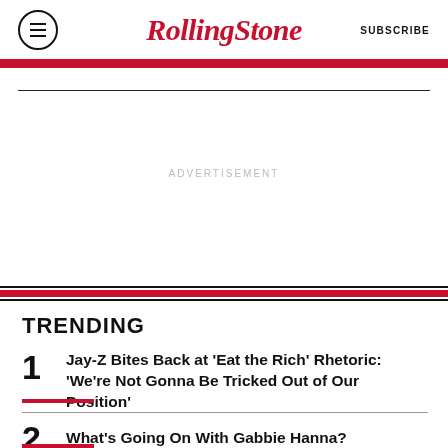RollingStone | SUBSCRIBE
ADVERTISEMENT
TRENDING
1 Jay-Z Bites Back at 'Eat the Rich' Rhetoric: 'We're Not Gonna Be Tricked Out of Our Position'
2 What's Going On With Gabbie Hanna?